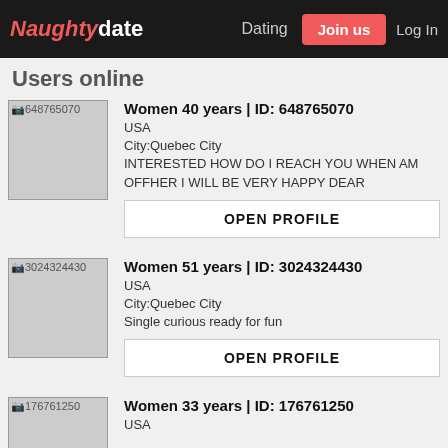Naughtydate | Dating | Join us | Log In
Users online
[Figure (other): Profile thumbnail placeholder for ID 648765070]
Women 40 years | ID: 648765070
USA
City:Quebec City
INTERESTED HOW DO I REACH YOU WHEN AM OFFHER I WILL BE VERY HAPPY DEAR
OPEN PROFILE
[Figure (other): Profile thumbnail placeholder for ID 3024324430]
Women 51 years | ID: 3024324430
USA
City:Quebec City
Single curious ready for fun
OPEN PROFILE
[Figure (other): Profile thumbnail placeholder for ID 176761250]
Women 33 years | ID: 176761250
USA